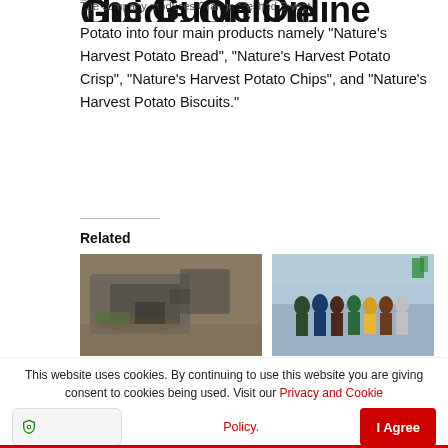Guide Online
The company produces Orange Fleshed Sweet Potato into four main products namely “Nature’s Harvest Potato Bread”, “Nature’s Harvest Potato Crisp”, “Nature’s Harvest Potato Chips”, and “Nature’s Harvest Potato Biscuits.”
Related
[Figure (photo): Aerial view of a modern building complex with curved architecture and green spaces]
Akufo-Addo Tasks UGMC ...To Manage Facility Prudently
June 20, 2022
[Figure (photo): Group of people standing together outdoors, some in colorful clothing]
Gov’t Committed to Promoting Responsible Mining -Akufo Addo .
June 6, 2022
This website uses cookies. By continuing to use this website you are giving consent to cookies being used. Visit our Privacy and Cookie Policy.